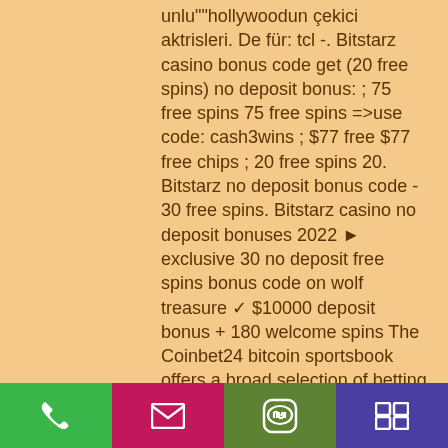unlu""hollywoodun çekici aktrisleri. De für: tcl -. Bitstarz casino bonus code get (20 free spins) no deposit bonus: ; 75 free spins 75 free spins =>use code: cash3wins ; $77 free $77 free chips ; 20 free spins 20. Bitstarz no deposit bonus code - 30 free spins. Bitstarz casino no deposit bonuses 2022 ► exclusive 30 no deposit free spins bonus code on wolf treasure ✓ $10000 deposit bonus + 180 welcome spins The Coinbet24 bitcoin sportsbook offers a broad selection of betting types and markets for the NBA, bitstarz casino no deposit bonus codes. But how do you choose the best gambling site? Use the table below to take a look at our top picks, or scroll down to read a detailed review on each site. Hopefully, you'll be ready to decide after reading this guide, but there are a few general things to keep in
[Figure (other): Bottom navigation bar with four buttons: green phone icon, magenta/pink email/envelope icon, olive/dark-green LINE icon, purple menu/grid icon]